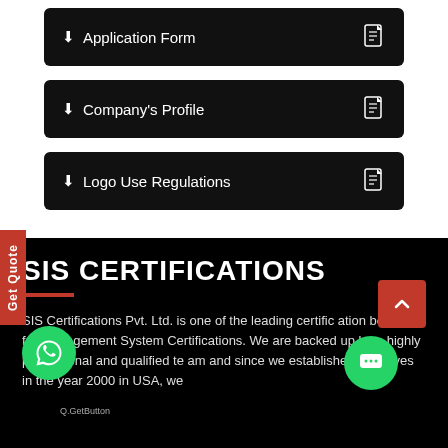⬇ Application Form
⬇ Company's Profile
⬇ Logo Use Regulations
SIS CERTIFICATIONS
SIS Certifications Pvt. Ltd. is one of the leading certifcation bodies for Management System Certifications. We are backed up by a highly professional and qualified team and since we established ourselves in the year 2000 in USA, we